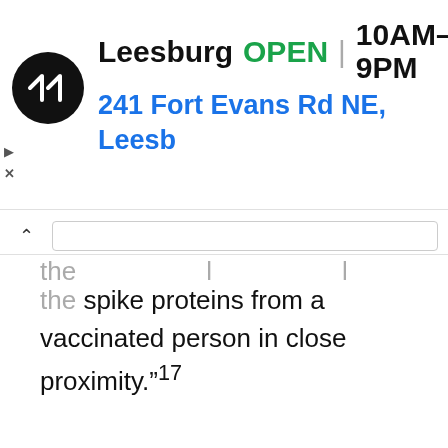[Figure (screenshot): Advertisement banner for a store in Leesburg showing logo, OPEN status, hours 10AM–9PM, address 241 Fort Evans Rd NE, Leesburg, and a navigation icon. Includes UI elements: play button, X button, chevron/collapse button.]
the spike proteins from a vaccinated person in close proximity.”17